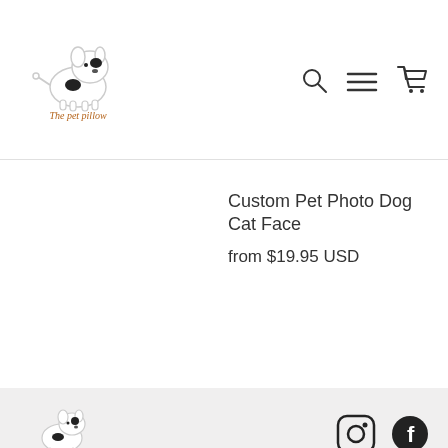[Figure (logo): The Pet Pillow logo with cartoon dog and text in header]
[Figure (illustration): Search icon, hamburger menu icon, and cart icon in top right header]
Custom Pet Photo Dog Cat Face
from $19.95 USD
[Figure (logo): The Pet Pillow logo in footer]
[Figure (logo): Instagram and Facebook social media icons in footer]
GET IN TOUCH
ABOUT